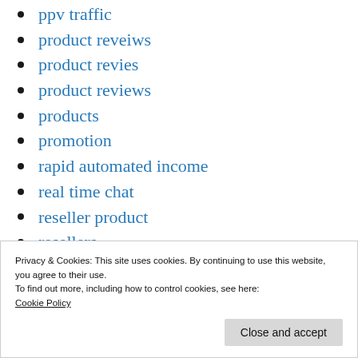ppv traffic
product reveiws
product revies
product reviews
products
promotion
rapid automated income
real time chat
reseller product
resellers
resellers club
Privacy & Cookies: This site uses cookies. By continuing to use this website, you agree to their use.
To find out more, including how to control cookies, see here:
Cookie Policy
Close and accept